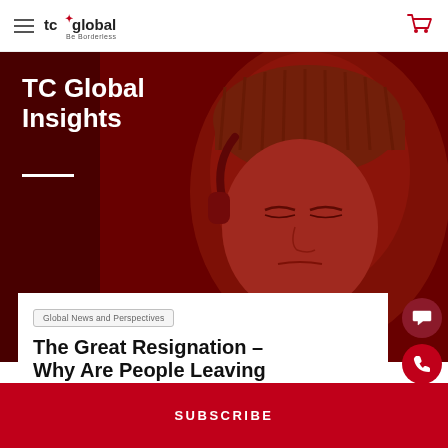tc global — Be Borderless
[Figure (photo): Red-tinted portrait photo of a young woman wearing a knit beanie and headphones, eyes closed, set against a deep red background. Overlaid with the heading 'TC Global Insights' in white bold text and a white horizontal rule.]
TC Global Insights
Global News and Perspectives
The Great Resignation – Why Are People Leaving
SUBSCRIBE